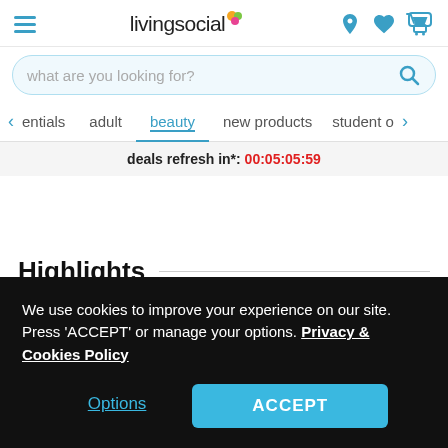livingsocial
what are you looking for?
essentials  adult  beauty  new products  student o
deals refresh in*: 00:05:05:59
Highlights
Makeup sponges: Get a set of five beauty makeup blenders.
Includes: A selection of makeup sponges and silicone makeup
We use cookies to improve your experience on our site. Press 'ACCEPT' or manage your options. Privacy & Cookies Policy
Options   ACCEPT